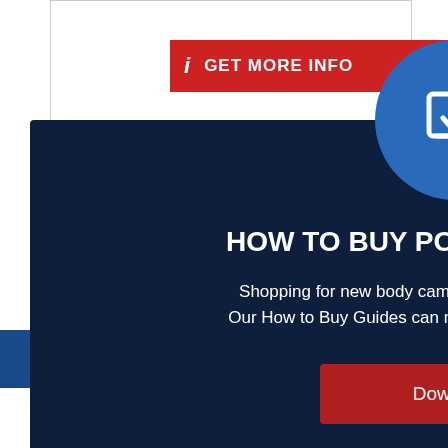[Figure (screenshot): Red banner with info icon and GET MORE INFO text]
[Figure (infographic): Modal popup on dark navy background showing download icon in blue circle, title HOW TO BUY POLICE PRODUCTS, descriptive text about shopping guides, and a red Download button. Partially visible background page with blue navigation bar and blue text links.]